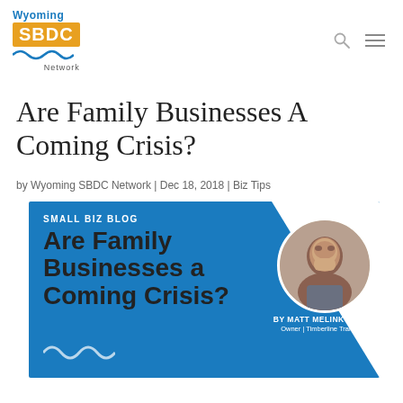Wyoming SBDC Network
Are Family Businesses A Coming Crisis?
by Wyoming SBDC Network | Dec 18, 2018 | Biz Tips
[Figure (illustration): Small Biz Blog banner image with blue background and diagonal white cutout. Text reads: SMALL BIZ BLOG / Are Family Businesses a Coming Crisis? BY MATT MELINKOVICH Owner | Timberline Training. Includes circular headshot photo of Matt Melinkovich and a white wave logo at bottom left.]